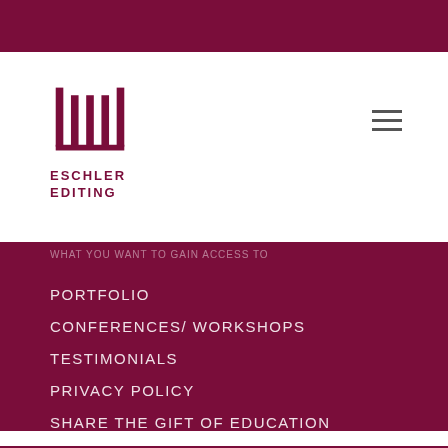[Figure (logo): Eschler Editing logo — stylized columns icon above text 'ESCHLER EDITING']
PORTFOLIO
CONFERENCES/ WORKSHOPS
TESTIMONIALS
PRIVACY POLICY
SHARE THE GIFT OF EDUCATION
Awesome resources are at your fingertips.